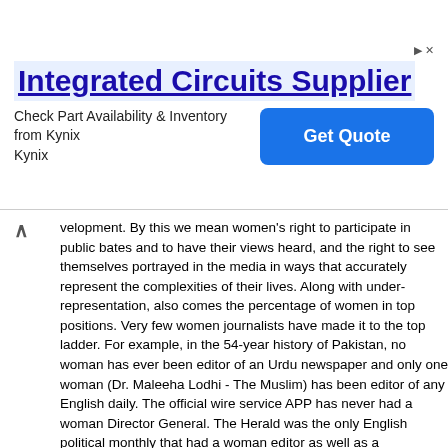[Figure (other): Advertisement banner for 'Integrated Circuits Supplier' by Kynix with a 'Get Quote' button and navigation arrows/close icon at top right.]
velopment. By this we mean women's right to participate in public bates and to have their views heard, and the right to see themselves portrayed in the media in ways that accurately represent the complexities of their lives. Along with under-representation, also comes the percentage of women in top positions. Very few women journalists have made it to the top ladder. For example, in the 54-year history of Pakistan, no woman has ever been editor of an Urdu newspaper and only one woman (Dr. Maleeha Lodhi - The Muslim) has been editor of any English daily. The official wire service APP has never had a woman Director General. The Herald was the only English political monthly that had a woman editor as well as a predominantly female staff. This group later resigned en masse from Herald and brought out another political/social magazine The Newsline. In Urdu and regional language press (that captures more than 80% of the newspaper market), there are very few women workers. The state-controlled Pakistan Television Corporation has had one woman reaching the top position of Managing Director and another woman that of Director Programmes. But state-owned Pakistan Broadcasting Corporation has never had a woman as Director General. The many, new private television and radio channels have no doubt employed many young women as reporters and DJs, but this is where it all stops.
Policies and Commitments
One of the twelve recommendations in the Platform for Action that came out of the Fourth World conference on Women in Beijing focuse